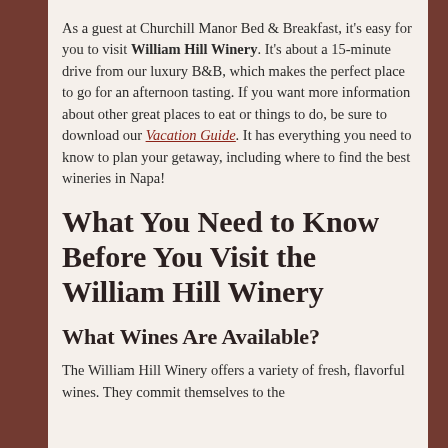As a guest at Churchill Manor Bed & Breakfast, it's easy for you to visit William Hill Winery. It's about a 15-minute drive from our luxury B&B, which makes the perfect place to go for an afternoon tasting. If you want more information about other great places to eat or things to do, be sure to download our Vacation Guide. It has everything you need to know to plan your getaway, including where to find the best wineries in Napa!
What You Need to Know Before You Visit the William Hill Winery
What Wines Are Available?
The William Hill Winery offers a variety of fresh, flavorful wines. They commit themselves to the